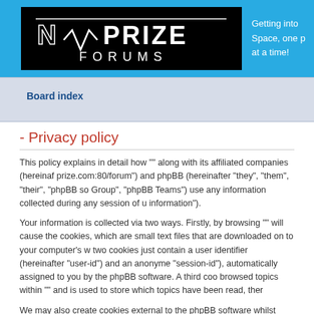[Figure (logo): NPrize Forums logo on black background with neon white text]
Getting into Space, one p at a time!
Board index
- Privacy policy
This policy explains in detail how "" along with its affiliated companies (hereinaf prize.com:80/forum") and phpBB (hereinafter "they", "them", "their", "phpBB so Group", "phpBB Teams") use any information collected during any session of u information").
Your information is collected via two ways. Firstly, by browsing "" will cause the cookies, which are small text files that are downloaded on to your computer's w two cookies just contain a user identifier (hereinafter "user-id") and an anonyme "session-id"), automatically assigned to you by the phpBB software. A third coo browsed topics within "" and is used to store which topics have been read, ther
We may also create cookies external to the phpBB software whilst browsing "", this document which is intended to only cover the pages created by the phpBB collect your information is by what you submit to us. This can be, and is not lim